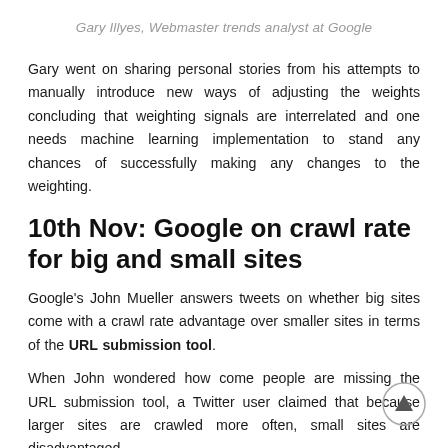Gary Illyes, Webmaster trends analyst at Google
Gary went on sharing personal stories from his attempts to manually introduce new ways of adjusting the weights concluding that weighting signals are interrelated and one needs machine learning implementation to stand any chances of successfully making any changes to the weighting.
10th Nov: Google on crawl rate for big and small sites
Google's John Mueller answers tweets on whether big sites come with a crawl rate advantage over smaller sites in terms of the URL submission tool.
When John wondered how come people are missing the URL submission tool, a Twitter user claimed that because larger sites are crawled more often, small sites are disadvantaged.